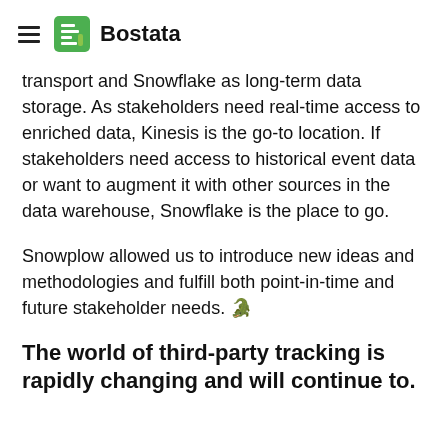Bostata
transport and Snowflake as long-term data storage. As stakeholders need real-time access to enriched data, Kinesis is the go-to location. If stakeholders need access to historical event data or want to augment it with other sources in the data warehouse, Snowflake is the place to go.
Snowplow allowed us to introduce new ideas and methodologies and fulfill both point-in-time and future stakeholder needs. 🐊
The world of third-party tracking is rapidly changing and will continue to.